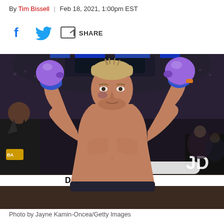By Tim Bissell | Feb 18, 2021, 1:00pm EST
[Figure (other): Social sharing bar with Facebook icon, Twitter icon, and Share button]
[Figure (photo): Boxer (Billy Joe Saunders) with arms raised wearing purple boxing gloves with blue wrist wraps, shirtless, standing in a boxing ring with DAZN branding visible on the ropes, arena crowd visible in background, another person visible on the left]
Photo by Jayne Kamin-Oncea/Getty Images